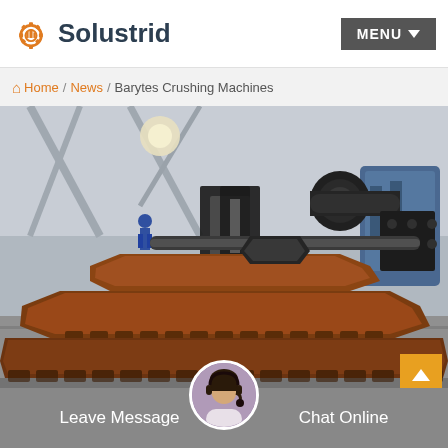Solustrid — MENU
Home / News / Barytes Crushing Machines
[Figure (photo): Industrial crushing machine jaw plates stacked on a factory floor, rusty iron/steel components, heavy machinery parts in a workshop setting]
Leave Message   Chat Online